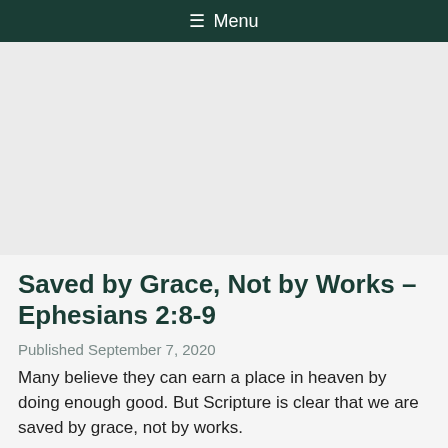≡ Menu
Saved by Grace, Not by Works – Ephesians 2:8-9
Published September 7, 2020
Many believe they can earn a place in heaven by doing enough good. But Scripture is clear that we are saved by grace, not by works.